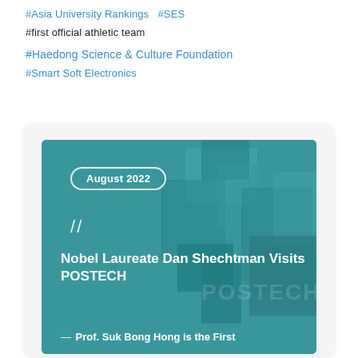#Asia University Rankings  #SES
#first official athletic team
#Haedong Science & Culture Foundation
#Smart Soft Electronics
[Figure (photo): Card with teal/dark cyan background showing POSTECH building signage. Contains a badge reading 'August 2022', decorative slash marks, headline 'Nobel Laureate Dan Shechtman Visits POSTECH', and partial subtitle 'Prof. Suk Bong Hong is the First']